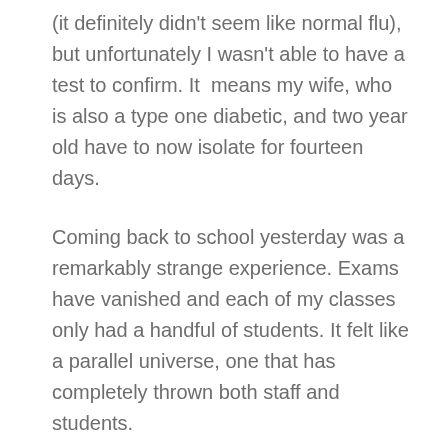(it definitely didn't seem like normal flu), but unfortunately I wasn't able to have a test to confirm. It  means my wife, who is also a type one diabetic, and two year old have to now isolate for fourteen days.
Coming back to school yesterday was a remarkably strange experience. Exams have vanished and each of my classes only had a handful of students. It felt like a parallel universe, one that has completely thrown both staff and students.